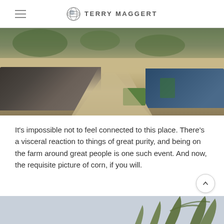TERRY MAGGERT
[Figure (photo): Farm scene with a dirt road/driveway, vehicles including a dark truck on the left and a blue truck on the right, green grass, trees and farm buildings in the background.]
It’s impossible not to feel connected to this place. There’s a visceral reaction to things of great purity, and being on the farm around great people is one such event. And now, the requisite picture of corn, if you will.
[Figure (photo): Close-up photo of corn stalks against a light blue sky, showing the tall green leaves and stalks from a low angle.]